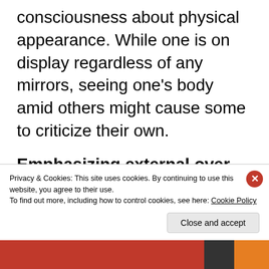consciousness about physical appearance. While one is on display regardless of any mirrors, seeing one’s body amid others might cause some to criticize their own.
Emphasizing external over internal awareness
By their nature, mirrors reflect what the outside world sees of us. Shouldn’t yoga be cultivating our internal awareness?
B...
Privacy & Cookies: This site uses cookies. By continuing to use this website, you agree to their use.
To find out more, including how to control cookies, see here: Cookie Policy
Close and accept